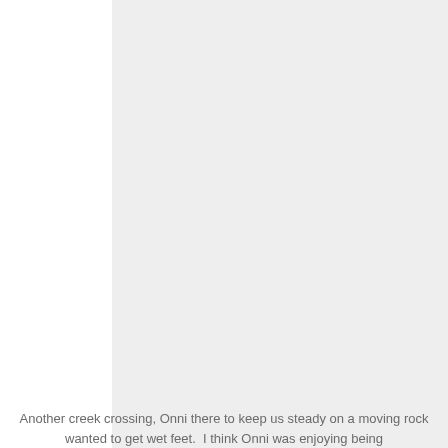[Figure (photo): A large light gray rectangular image area occupying most of the page, likely a photograph with no visible detail in this rendering.]
Another creek crossing, Onni there to keep us steady on a moving rock wanted to get wet feet.  I think Onni was enjoying being